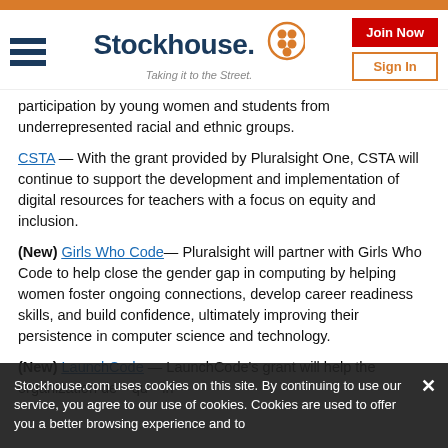Stockhouse — Taking it to the Street.
participation by young women and students from underrepresented racial and ethnic groups.
CSTA — With the grant provided by Pluralsight One, CSTA will continue to support the development and implementation of digital resources for teachers with a focus on equity and inclusion.
(New) Girls Who Code— Pluralsight will partner with Girls Who Code to help close the gender gap in computing by helping women foster ongoing connections, develop career readiness skills, and build confidence, ultimately improving their persistence in computer science and technology.
(New) LaunchCode — LaunchCode's grant will help the organization de... qu... in...
Stockhouse.com uses cookies on this site. By continuing to use our service, you agree to our use of cookies. Cookies are used to offer you a better browsing experience and to...